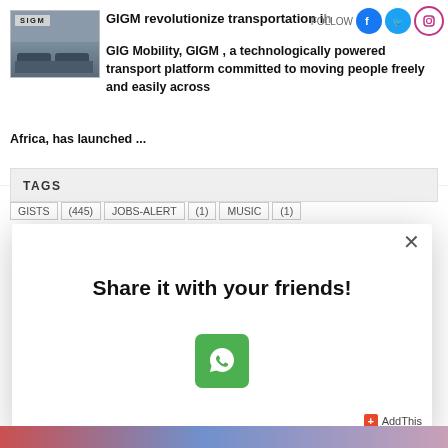[Figure (screenshot): Article card with thumbnail image of cars/transport and article text about GIGM revolutionizing transportation]
GIGM revolutionize transportation i...h
GIG Mobility, GIGM , a technologically powered transport platform committed to moving people freely and easily across Africa, has launched ...
TAGS
GISTS   (445)   JOBS-ALERT   (1)   MUSIC   (1)
Share it with your friends!
[Figure (logo): WhatsApp share button - green square with WhatsApp phone icon]
AddThis